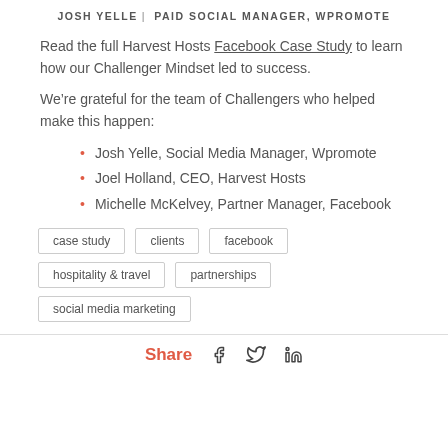JOSH YELLE | PAID SOCIAL MANAGER, WPROMOTE
Read the full Harvest Hosts Facebook Case Study to learn how our Challenger Mindset led to success.
We’re grateful for the team of Challengers who helped make this happen:
Josh Yelle, Social Media Manager, Wpromote
Joel Holland, CEO, Harvest Hosts
Michelle McKelvey, Partner Manager, Facebook
case study   clients   facebook   hospitality & travel   partnerships   social media marketing
Share